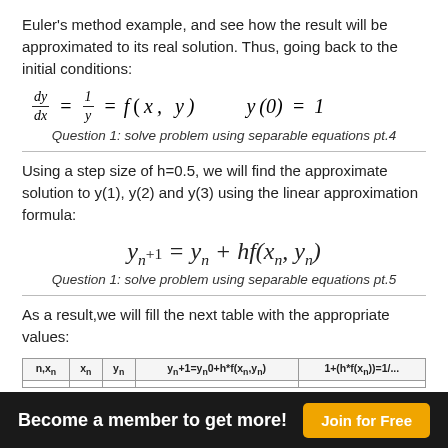Euler's method example, and see how the result will be approximated to its real solution. Thus, going back to the initial conditions:
Question 1: solve problem using separable equations pt.4
Using a step size of h=0.5, we will find the approximate solution to y(1), y(2) and y(3) using the linear approximation formula:
Question 1: solve problem using separable equations pt.5
As a result,we will fill the next table with the appropriate values:
| n,xn,yn | xn | yn | yn+1=yn0+h*f(xn,yn) | 1+(h*f(xn))=1/... |
| --- | --- | --- | --- | --- |